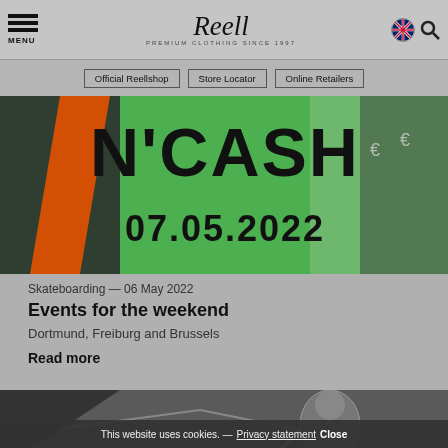MENU | Reell PREMIUM CLOTHING SINCE 1997 | [flag] [search]
Official Reellshop | Store Locator | Online Retailers
[Figure (photo): Banner image with N'CASH text and date 07.05.2022 on green background with a person smiling]
Skateboarding — 06 May 2022
Events for the weekend
Dortmund, Freiburg and Brussels
Read more
[Figure (illustration): Black and white illustration of a skateboarder, partially visible at bottom of page]
This website uses cookies. — Privacy statement Close